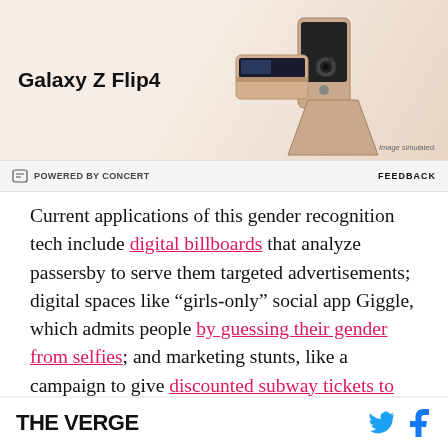[Figure (photo): Advertisement banner for Samsung Galaxy Z Flip4 smartphone showing the phone in a folded/unfolded state on a light pink background]
⊟ POWERED BY CONCERT    FEEDBACK
Current applications of this gender recognition tech include digital billboards that analyze passersby to serve them targeted advertisements; digital spaces like “girls-only” social app Giggle, which admits people by guessing their gender from selfies; and marketing stunts, like a campaign to give discounted subway tickets to women in Berlin to celebrate Equal Pay Day that tried to identify women based on facial scans. Researchers have
THE VERGE